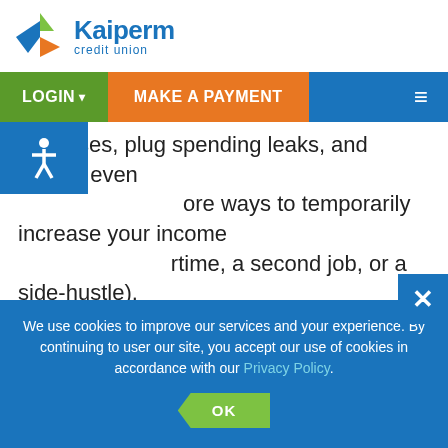[Figure (logo): Kaiperm Credit Union logo with colorful geometric shapes and blue text]
LOGIN  MAKE A PAYMENT  ☰
expenses, plug spending leaks, and maybe even more ways to temporarily increase your income (overtime, a second job, or a side-hustle).
Step 2: Review your credit report.
Lenders begin the application process with a review of your credit report, so you need to know where yo
We use cookies to improve our services and your experience. By continuing to user our site, you accept our use of cookies in accordance with our Privacy Policy.